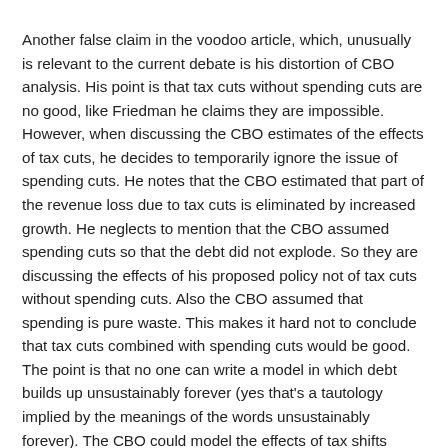Another false claim in the voodoo article, which, unusually is relevant to the current debate is his distortion of CBO analysis. His point is that tax cuts without spending cuts are no good, like Friedman he claims they are impossible. However, when discussing the CBO estimates of the effects of tax cuts, he decides to temporarily ignore the issue of spending cuts. He notes that the CBO estimated that part of the revenue loss due to tax cuts is eliminated by increased growth. He neglects to mention that the CBO assumed spending cuts so that the debt did not explode. So they are discussing the effects of his proposed policy not of tax cuts without spending cuts. Also the CBO assumed that spending is pure waste. This makes it hard not to conclude that tax cuts combined with spending cuts would be good. The point is that no one can write a model in which debt builds up unsustainably forever (yes that's a tautology implied by the meanings of the words unsustainably forever). The CBO could model the effects of tax shifts without spending cuts. They didn't do that.